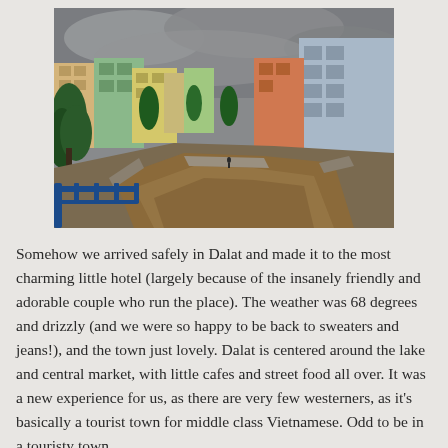[Figure (photo): A brown muddy canal or river runs through a Vietnamese town (Dalat), with colorful multi-story buildings on either side, lush green trees, overcast grey sky, and blue metal railings in the foreground.]
Somehow we arrived safely in Dalat and made it to the most charming little hotel (largely because of the insanely friendly and adorable couple who run the place). The weather was 68 degrees and drizzly (and we were so happy to be back to sweaters and jeans!), and the town just lovely. Dalat is centered around the lake and central market, with little cafes and street food all over. It was a new experience for us, as there are very few westerners, as it's basically a tourist town for middle class Vietnamese. Odd to be in a touristy town